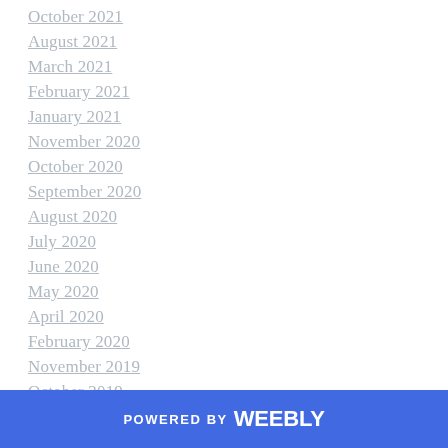October 2021
August 2021
March 2021
February 2021
January 2021
November 2020
October 2020
September 2020
August 2020
July 2020
June 2020
May 2020
April 2020
February 2020
November 2019
October 2019
September 2019
POWERED BY weebly